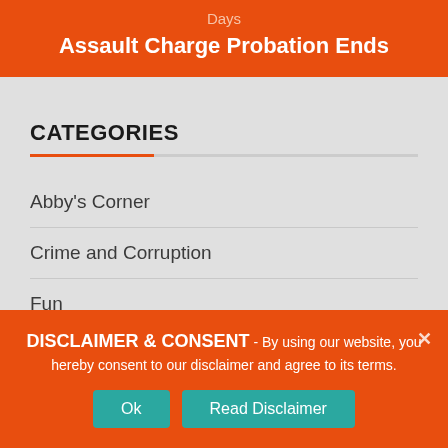Days
Assault Charge Probation Ends
CATEGORIES
Abby's Corner
Crime and Corruption
Fun
Legal
Medical
DISCLAIMER & CONSENT - By using our website, you hereby consent to our disclaimer and agree to its terms.